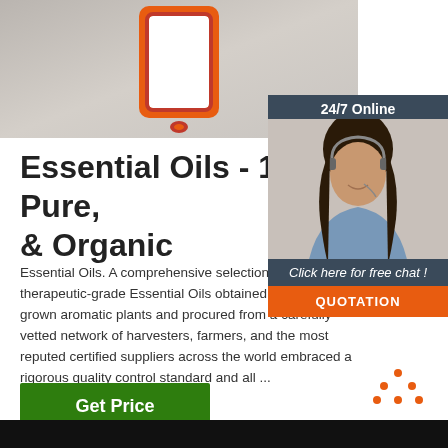[Figure (photo): Photo of an orange smartphone/tablet frame with white screen center, on a light gray surface]
[Figure (infographic): 24/7 Online customer service chat widget showing a female agent with headset, 'Click here for free chat!' text and an orange QUOTATION button]
Essential Oils - 100% Pure, & Organic
Essential Oils. A comprehensive selection of 100% natural therapeutic-grade Essential Oils obtained from organically grown aromatic plants and procured from a carefully vetted network of harvesters, farmers, and the most reputed certified suppliers across the world embraced a rigorous quality control standard and all ...
[Figure (other): Green 'Get Price' button]
[Figure (other): Orange TOP icon with dotted triangle and bold orange TOP text]
[Figure (photo): Dark strip at the bottom of the page]